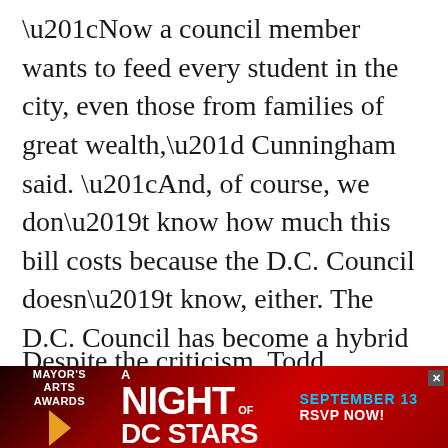“Now a council member wants to feed every student in the city, even those from families of great wealth,” Cunningham said. “And, of course, we don’t know how much this bill costs because the D.C. Council doesn’t know, either. The D.C. Council has become a hybrid model of United Nations and the Monopoly board game, but they are playing with billions and billions of other people’s money.”
Despite the criticism, Todd stands firm that numbers add up and the legislation is fair.
[Figure (infographic): Advertisement banner for Mayor's Arts Awards: A Night of DC Stars, September 13, RSVP Now! Red gradient background with gold arrow accent.]